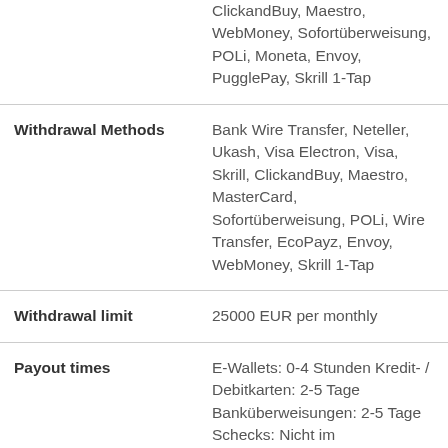| Label | Value |
| --- | --- |
|  | ClickandBuy, Maestro, WebMoney, Sofortüberweisung, POLi, Moneta, Envoy, PugglePay, Skrill 1-Tap |
| Withdrawal Methods | Bank Wire Transfer, Neteller, Ukash, Visa Electron, Visa, Skrill, ClickandBuy, Maestro, MasterCard, Sofortüberweisung, POLi, Wire Transfer, EcoPayz, Envoy, WebMoney, Skrill 1-Tap |
| Withdrawal limit | 25000 EUR per monthly |
| Payout times | E-Wallets: 0-4 Stunden Kredit- / Debitkarten: 2-5 Tage Banküberweisungen: 2-5 Tage Schecks: Nicht im |